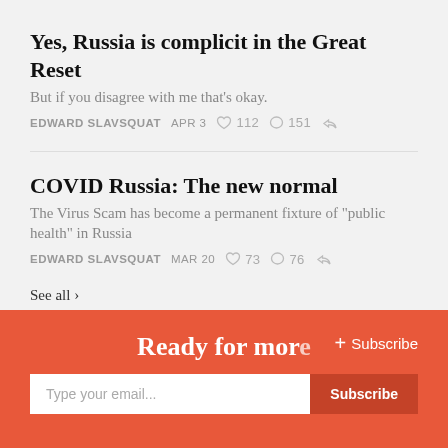Yes, Russia is complicit in the Great Reset
But if you disagree with me that's okay.
EDWARD SLAVSQUAT   APR 3   ♡ 112   ○ 151   ↗
COVID Russia: The new normal
The Virus Scam has become a permanent fixture of "public health" in Russia
EDWARD SLAVSQUAT   MAR 20   ♡ 73   ○ 76   ↗
See all ›
Ready for mor
+ Subscribe
Type your email...   Subscribe